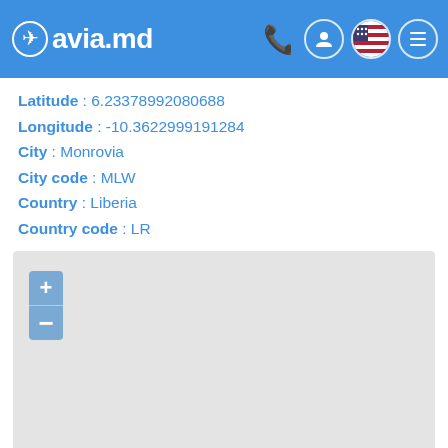avia.md
Latitude : 6.23378992080688
Longitude : -10.3622999191284
City : Monrovia
City code : MLW
Country : Liberia
Country code : LR
[Figure (map): Interactive map placeholder with zoom in/out controls, showing a light gray background map area for Monrovia, Liberia location.]